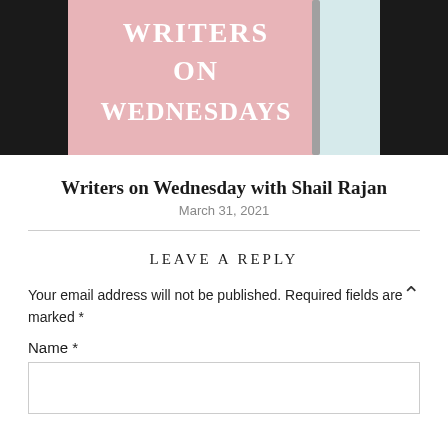[Figure (illustration): Blog header image with pink background and white bold serif text reading 'WRITERS ON WEDNESDAYS', with a pen/pencil visible on the right side against a light blue/white background.]
Writers on Wednesday with Shail Rajan
March 31, 2021
LEAVE A REPLY
Your email address will not be published. Required fields are marked *
Name *